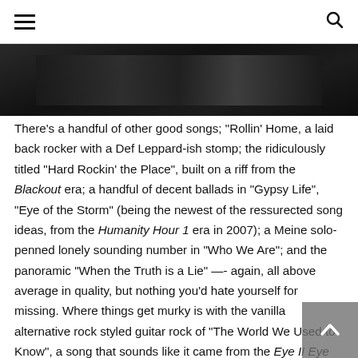Navigation header with hamburger menu and search icon
[Figure (photo): Dark photo strip showing band members in dark clothing, partially cropped at top]
There’s a handful of other good songs; “Rollin’ Home, a laid back rocker with a Def Leppard-ish stomp; the ridiculously titled “Hard Rockin’ the Place”, built on a riff from the Blackout era; a handful of decent ballads in “Gypsy Life”, “Eye of the Storm” (being the newest of the ressurected song ideas, from the Humanity Hour 1 era in 2007); a Meine solo-penned lonely sounding number in “Who We Are”; and the panoramic “When the Truth is a Lie” —- again, all above average in quality, but nothing you’d hate yourself for missing. Where things get murky is with the vanilla alternative rock styled guitar rock of “The World We Used to Know”, a song that sounds like it came from the Eye II Eye sessions; as well as the blandness of the album opener “Going Out With a Bang” where chest thumping